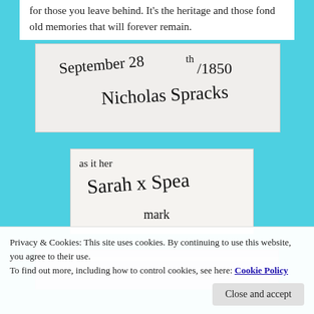for those you leave behind. It's the heritage and those fond old memories that will forever remain.
[Figure (photo): Handwritten signature dated September 28 th/1850, signed by Nicholas Spracks]
[Figure (photo): Handwritten signature reading 'as it her mark Sarah x Spea mark']
[Figure (photo): Photograph partially visible, appears to be a document or object]
Privacy & Cookies: This site uses cookies. By continuing to use this website, you agree to their use.
To find out more, including how to control cookies, see here: Cookie Policy
Close and accept